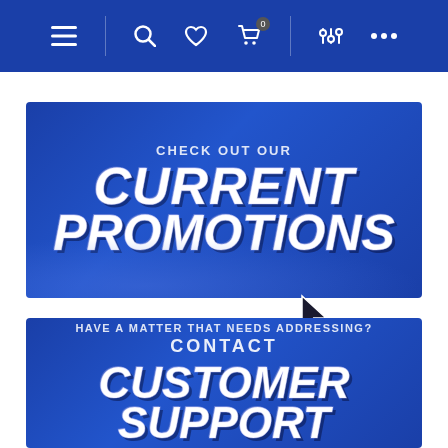[Figure (screenshot): Website navigation bar with icons: hamburger menu, search, heart/wishlist, shopping cart (badge 0), filter/settings sliders, and more options (three dots)]
[Figure (infographic): Blue promotional banner with text: CHECK OUT OUR CURRENT PROMOTIONS]
[Figure (infographic): Blue customer support banner with text: HAVE A MATTER THAT NEEDS ADDRESSING? CONTACT CUSTOMER SUPPORT]